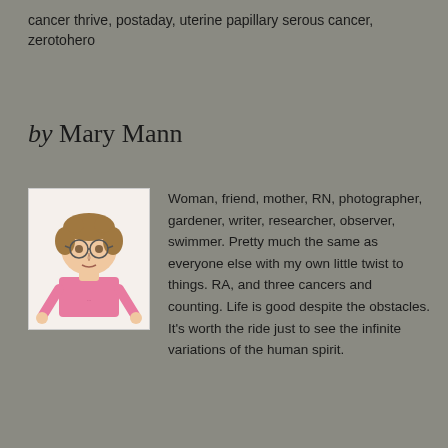cancer thrive, postaday, uterine papillary serous cancer, zerotohero
by Mary Mann
[Figure (illustration): Hand-drawn cartoon illustration of a woman with short curly brown hair, glasses, wearing a pink t-shirt, with arms at sides]
Woman, friend, mother, RN, photographer, gardener, writer, researcher, observer, swimmer. Pretty much the same as everyone else with my own little twist to things. RA, and three cancers and counting. Life is good despite the obstacles. It's worth the ride just to see the infinite variations of the human spirit.